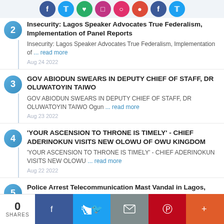2. Insecurity: Lagos Speaker Advocates True Federalism, Implementation of Panel Reports
Insecurity: Lagos Speaker Advocates True Federalism, Implementation of ... read more
Aug 24 2022
3. GOV ABIODUN SWEARS IN DEPUTY CHIEF OF STAFF, DR OLUWATOYIN TAIWO
GOV ABIODUN SWEARS IN DEPUTY CHIEF OF STAFF, DR OLUWATOYIN TAIWO Ogun ... read more
Aug 23 2022
4. 'YOUR ASCENSION TO THRONE IS TIMELY' - CHIEF ADERINOKUN VISITS NEW OLOWU OF OWU KINGDOM
'YOUR ASCENSION TO THRONE IS TIMELY' - CHIEF ADERINOKUN VISITS NEW OLOWU ... read more
Aug 22 2022
5. Police Arrest Telecommunication Mast Vandal in Lagos, Recover 12 solar batteries, Operational Vehicle
0 SHARES  [Facebook] [Twitter] [Email] [Pinterest] [More]